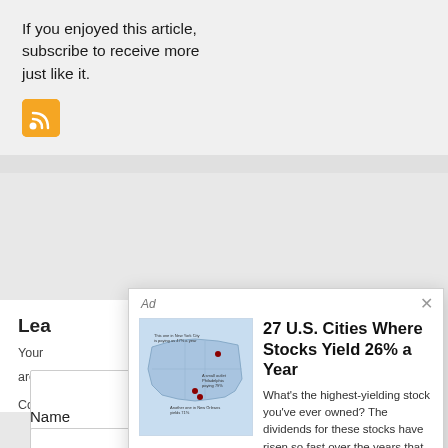If you enjoyed this article, subscribe to receive more just like it.
[Figure (other): RSS feed orange icon button]
Lea
Your
are
Com
[Figure (screenshot): Ad modal overlay: 27 U.S. Cities Where Stocks Yield 26% a Year. Map image of USA. Description: What's the highest-yielding stock you've ever owned? The dividends for these stocks have risen so fast over the years that they're no... Button: Get in on the action here.]
Name